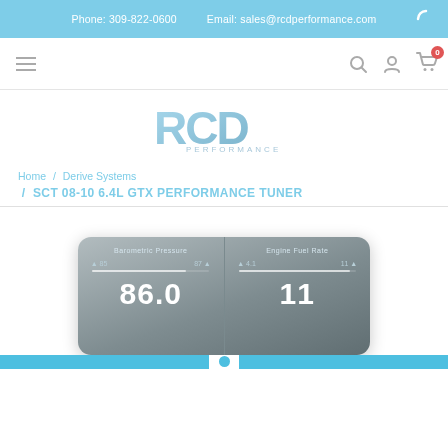Phone: 309-822-0600   Email: sales@rcdperformance.com
[Figure (logo): RCD Performance logo in light blue/gray gradient lettering]
Home / Derive Systems / SCT 08-10 6.4L GTX PERFORMANCE TUNER
SCT 08-10 6.4L GTX PERFORMANCE TUNER
[Figure (screenshot): Device screen showing Barometric Pressure: 86.0 (range 85-87) and Engine Fuel Rate: 11 (range 4.1-11)]